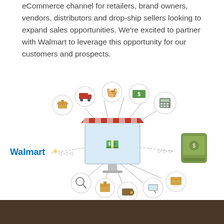eCommerce channel for retailers, brand owners, vendors, distributors and drop-ship sellers looking to expand sales opportunities. We're excited to partner with Walmart to leverage this opportunity for our customers and prospects.
[Figure (infographic): Infographic showing a central computer monitor with a market stall awning and dollar signs, surrounded by ecommerce icons (boxes, truck, shopping basket, money, calculator, mobile payment device, wallet, tablet, search magnifier) connected by lines. The Walmart logo with spark symbol appears on the left.]
[Figure (photo): Bottom strip showing a dark wooden texture background.]